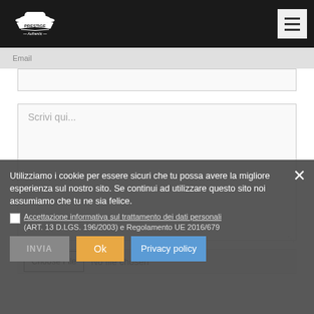[Figure (logo): Prestige Authentic logo with hat icon on dark navigation bar]
Email
Scrivi qui...
Choose File  No file chosen
Utilizziamo i cookie per essere sicuri che tu possa avere la migliore esperienza sul nostro sito. Se continui ad utilizzare questo sito noi assumiamo che tu ne sia felice.
Accettazione informativa sul trattamento dei dati personali (ART. 13 D.LGS. 196/2003) e Regolamento UE 2016/679
INVIA
Ok
Privacy policy